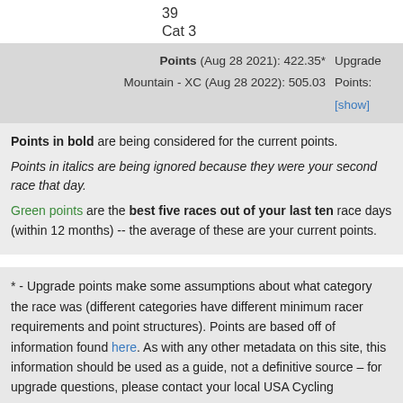39
Cat 3
Points (Aug 28 2021): 422.35*   Upgrade
Mountain - XC (Aug 28 2022): 505.03   Points:
[show]
Points in bold are being considered for the current points.
Points in italics are being ignored because they were your second race that day.
Green points are the best five races out of your last ten race days (within 12 months) -- the average of these are your current points.
* - Upgrade points make some assumptions about what category the race was (different categories have different minimum racer requirements and point structures). Points are based off of information found here. As with any other metadata on this site, this information should be used as a guide, not a definitive source – for upgrade questions, please contact your local USA Cycling